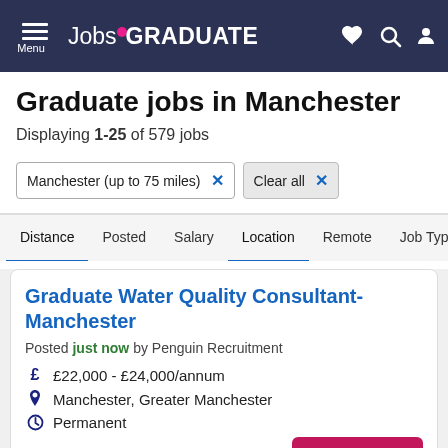JobsGRADUATE — Menu, heart, search, and user icons
Graduate jobs in Manchester
Displaying 1-25 of 579 jobs
Manchester (up to 75 miles) × | Clear all ×
Distance | Posted | Salary | Location | Remote | Job Type
Graduate Water Quality Consultant- Manchester
Posted just now by Penguin Recruitment
£22,000 - £24,000/annum
Manchester, Greater Manchester
Permanent
View more
Apply Now